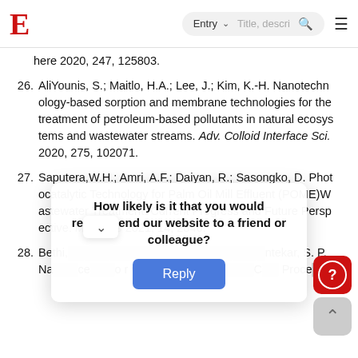E | Entry | Title, description search | menu
here 2020, 247, 125803.
26. AliYounis, S.; Maitlo, H.A.; Lee, J.; Kim, K.-H. Nanotechnology-based sorption and membrane technologies for the treatment of petroleum-based pollutants in natural ecosystems and wastewater streams. Adv. Colloid Interface Sci. 2020, 275, 102071.
27. Saputera,W.H.; Amri, A.F.; Daiyan, R.; Sasongko, D. Photocatalytic Technology for Palm Oil Mill Effluent (POME)Wastewater Treatment: Current Progress and Future Perspective. Materials 2021, 14, 2846.
28. Bethi, … ntekar, S. P. Nam… ce… o r wast… C… Proce…